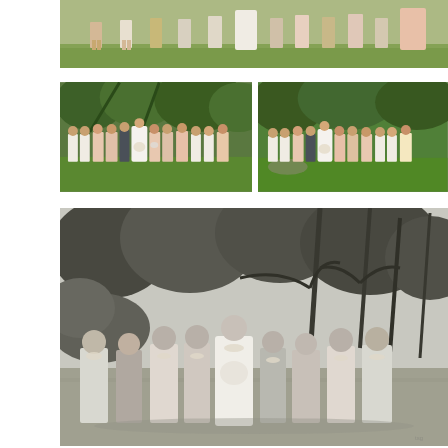[Figure (photo): Color wedding group photo showing wedding party standing in a row on grass, tropical green foliage background, people in formal/semi-formal attire including white shirts and floral dresses, partial view cropped at top]
[Figure (photo): Two side-by-side color photos of a wedding party standing in front of lush tropical greenery with palm trees. Left and right photos show the same group from slightly different angles or arrangements. Bridesmaids in floral/blush dresses, groomsmen in white shirts with suspenders, bride in white gown.]
[Figure (photo): Large black and white photograph of a wedding party walking together on a lawn with tropical palm trees and dense foliage in background. Group of approximately 9 people including bride in white dress holding bouquet, groom, and family members wearing leis.]